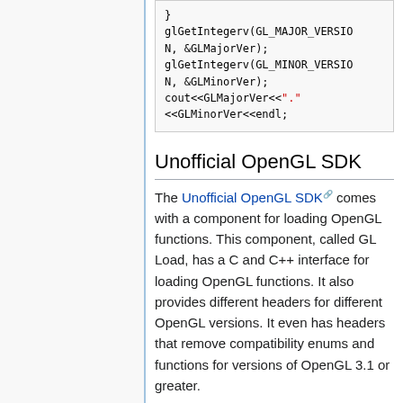}
glGetIntegerv(GL_MAJOR_VERSION, &GLMajorVer);
glGetIntegerv(GL_MINOR_VERSION, &GLMinorVer);
cout<<GLMajorVer<<"."<<GLMinorVer<<endl;
Unofficial OpenGL SDK
The Unofficial OpenGL SDK comes with a component for loading OpenGL functions. This component, called GL Load, has a C and C++ interface for loading OpenGL functions. It also provides different headers for different OpenGL versions. It even has headers that remove compatibility enums and functions for versions of OpenGL 3.1 or greater.
Here is a code example: